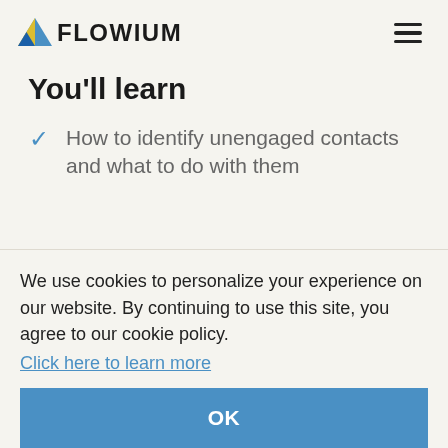FLOWIUM
You'll learn
How to identify unengaged contacts and what to do with them
We use cookies to personalize your experience on our website. By continuing to use this site, you agree to our cookie policy. Click here to learn more
OK